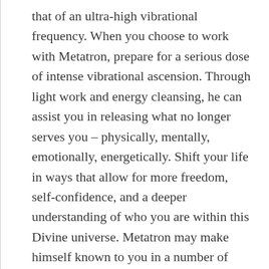that of an ultra-high vibrational frequency. When you choose to work with Metatron, prepare for a serious dose of intense vibrational ascension. Through light work and energy cleansing, he can assist you in releasing what no longer serves you – physically, mentally, emotionally, energetically. Shift your life in ways that allow for more freedom, self-confidence, and a deeper understanding of who you are within this Divine universe. Metatron may make himself known to you in a number of ways. If you are a visual receiver, you will recognize him by his almost blinding diamond white light. If you experience Archangels through sense and feel, Metatron's energy is HUGE – highly motivating and similar to a determined parent.